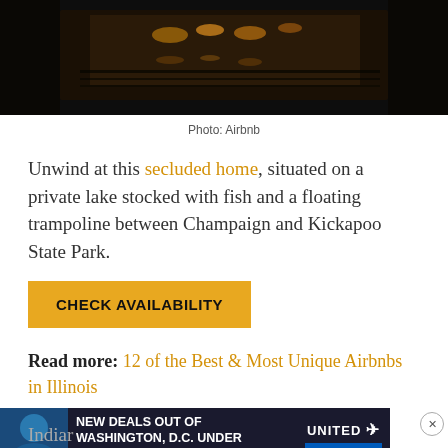[Figure (photo): Nighttime photo of a house/building reflected on a lake with warm golden lights]
Photo: Airbnb
Unwind at this secluded home, situated on a private lake stocked with fish and a floating trampoline between Champaign and Kickapoo State Park.
CHECK AVAILABILITY
Read more: 12 of the Best & Most Unique Airbnbs in Illinois
[Figure (photo): United Airlines advertisement: New Deals Out of Washington D.C. Under $200 Roundtrip. Book Now.]